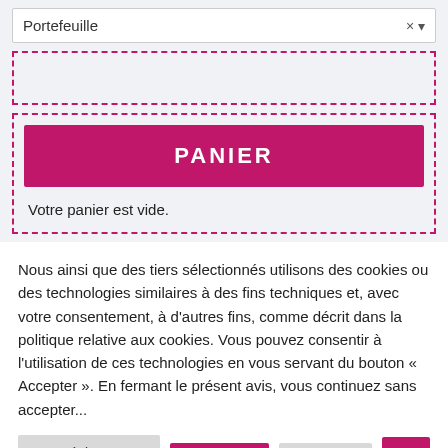[Figure (screenshot): Dropdown selector showing 'Portefeuille' with close (x) and expand arrow buttons]
[Figure (screenshot): Dashed pink border empty section (top)]
[Figure (screenshot): Dashed pink border section containing PANIER button and empty cart message]
Votre panier est vide.
Nous ainsi que des tiers sélectionnés utilisons des cookies ou des technologies similaires à des fins techniques et, avec votre consentement, à d'autres fins, comme décrit dans la politique relative aux cookies. Vous pouvez consentir à l'utilisation de ces technologies en vous servant du bouton « Accepter ». En fermant le présent avis, vous continuez sans accepter...
Réglages Cookie
Accepter
Refuser